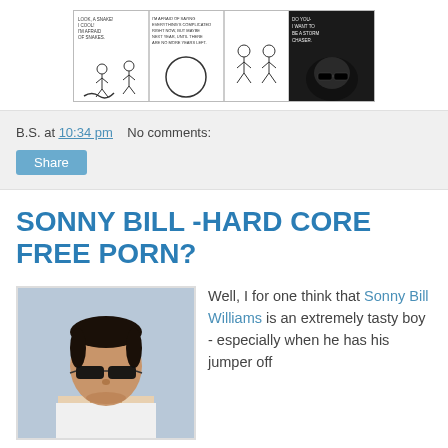[Figure (illustration): A 4-panel webcomic strip (xkcd style). Panel 1: stick figure character saying 'LOOK, A SNAKE! / I COOL! / I'M AFRAID / OF SNAKES.' Panel 2: character with round head saying 'I'M AFRAID OF SAYING / EVERYTHING'S COMPLICATED / RIGHT NOW, BUT MAYBE / NEXT YEAR, UNTIL THERE / ARE NO MORE YEARS LEFT.' Panel 3: two stick figures standing. Panel 4: dark detailed illustration of a storm chaser saying 'DO YOU- / I WANT TO / BE A STORM / CHASER.']
B.S. at 10:34 pm   No comments:
Share
SONNY BILL -HARD CORE FREE PORN?
[Figure (photo): Photo of a young athletic man (Sonny Bill Williams) wearing dark wraparound sunglasses and a white singlet, with a light blue background.]
Well, I for one think that Sonny Bill Williams is an extremely tasty boy - especially when he has his jumper off